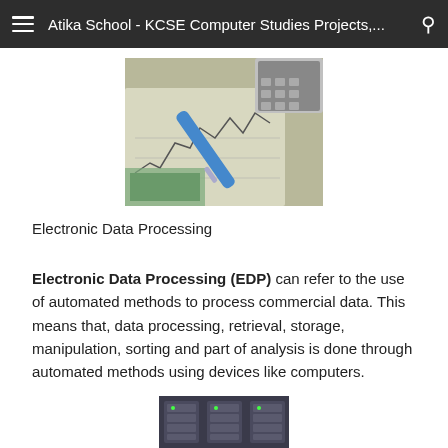Atika School - KCSE Computer Studies Projects,...
[Figure (photo): Photo of financial charts, a blue pen, and a calculator on a desk, representing data processing]
Electronic Data Processing
Electronic Data Processing (EDP) can refer to the use of automated methods to process commercial data. This means that, data processing, retrieval, storage, manipulation, sorting and part of analysis is done through automated methods using devices like computers.
[Figure (photo): Photo of computer server or data storage units at the bottom of the page]